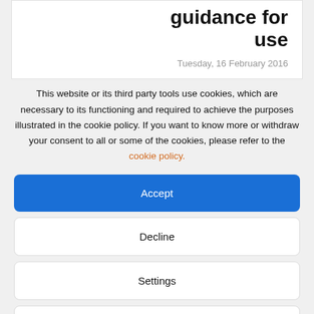guidance for use
Tuesday, 16 February 2016
This website or its third party tools use cookies, which are necessary to its functioning and required to achieve the purposes illustrated in the cookie policy. If you want to know more or withdraw your consent to all or some of the cookies, please refer to the cookie policy.
Accept
Decline
Settings
More Info